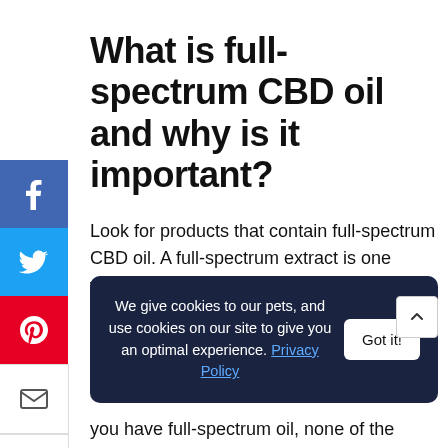What is full-spectrum CBD oil and why is it important?
Look for products that contain full-spectrum CBD oil. A full-spectrum extract is one where all the naturally occurring, bioactive compounds have been left in their natural state. While there are thousands of cannabinoids and terpenes
We give cookies to our pets, and use cookies on our site to give you an optimal experience. Privacy Policy
you have full-spectrum oil, none of the